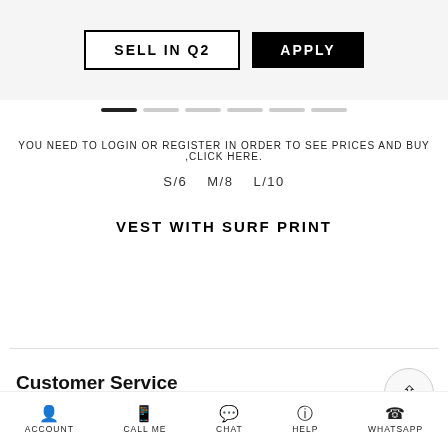[Figure (screenshot): E-commerce banner area with SELL IN Q2 button and APPLY button]
YOU NEED TO LOGIN OR REGISTER IN ORDER TO SEE PRICES AND BUY ,CLICK HERE.
S/6   M/8   L/10
VEST WITH SURF PRINT
Customer Service
Get in touch with us:
customer@q2wholesale.co.uk
ACCOUNT   CALL ME   CHAT   HELP   WHATSAPP